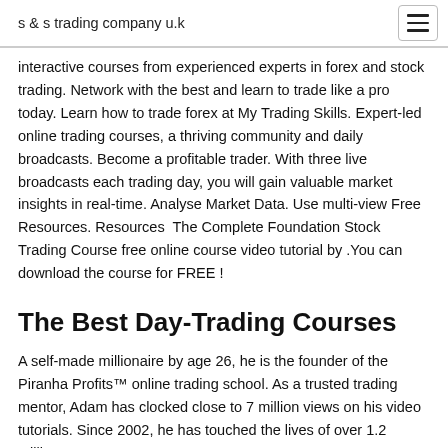s & s trading company u.k
interactive courses from experienced experts in forex and stock trading. Network with the best and learn to trade like a pro today. Learn how to trade forex at My Trading Skills. Expert-led online trading courses, a thriving community and daily broadcasts. Become a profitable trader. With three live broadcasts each trading day, you will gain valuable market insights in real-time. Analyse Market Data. Use multi-view Free Resources. Resources  The Complete Foundation Stock Trading Course free online course video tutorial by .You can download the course for FREE !
The Best Day-Trading Courses
A self-made millionaire by age 26, he is the founder of the Piranha Profits™ online trading school. As a trusted trading mentor, Adam has clocked close to 7 million views on his video tutorials. Since 2002, he has touched the lives of over 1.2 million